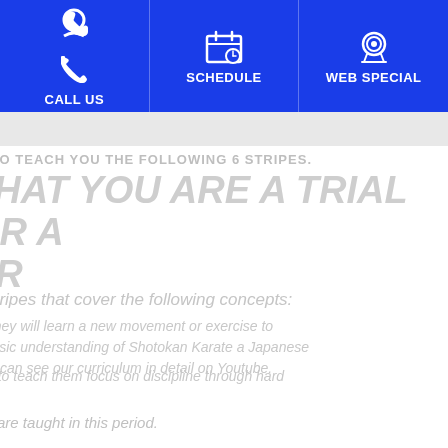CALL US | SCHEDULE | WEB SPECIAL
IS TO TEACH YOU THE FOLLOWING 6 STRIPES.
THAT YOU ARE A TRIAL OR A ER
6 stripes that cover the following concepts:
ks they will learn a new movement or exercise to n basic understanding of Shotokan Karate a Japanese You can see our curriculum in detail on Youtube.
e is to teach them focus on discipline through hard
hat are taught in this period.